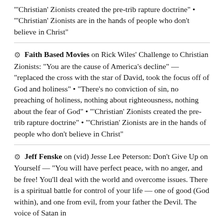'Christian' Zionists created the pre-trib rapture doctrine" • "'Christian' Zionists are in the hands of people who don't believe in Christ"
Faith Based Movies on Rick Wiles' Challenge to Christian Zionists: "You are the cause of America's decline" — "replaced the cross with the star of David, took the focus off of God and holiness" • "There's no conviction of sin, no preaching of holiness, nothing about righteousness, nothing about the fear of God" • "'Christian' Zionists created the pre-trib rapture doctrine" • "'Christian' Zionists are in the hands of people who don't believe in Christ"
Jeff Fenske on (vid) Jesse Lee Peterson: Don't Give Up on Yourself — "You will have perfect peace, with no anger, and be free! You'll deal with the world and overcome issues. There is a spiritual battle for control of your life — one of good (God within), and one from evil, from your father the Devil. The voice of Satan in